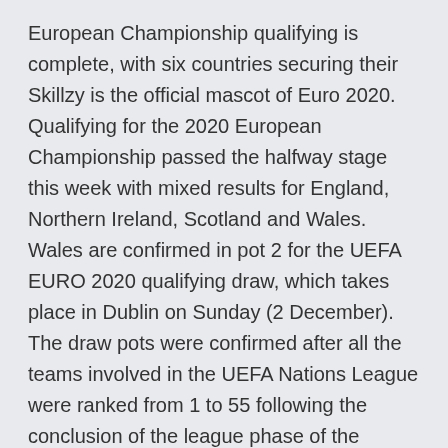European Championship qualifying is complete, with six countries securing their Skillzy is the official mascot of Euro 2020. Qualifying for the 2020 European Championship passed the halfway stage this week with mixed results for England, Northern Ireland, Scotland and Wales. Wales are confirmed in pot 2 for the UEFA EURO 2020 qualifying draw, which takes place in Dublin on Sunday (2 December). The draw pots were confirmed after all the teams involved in the UEFA Nations League were ranked from 1 to 55 following the conclusion of the league phase of the competition.
SUBSCRIBE http://bit.ly/SSFootballSubShane Duffy scored an 85th-minute equaliser as the Republic of Ireland drew 1-1 with Denmark and maintained their unbe The UEFA EURO 2020 matches will be in held in